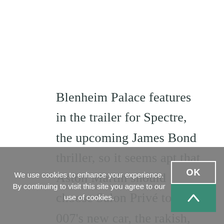Blenheim Palace features in the trailer for Spectre, the upcoming James Bond thriller, so it seems apt that Aston Martin should choose Salon Privé to show 007's new car, the rakish,
We use cookies to enhance your experience. By continuing to visit this site you agree to our use of cookies.